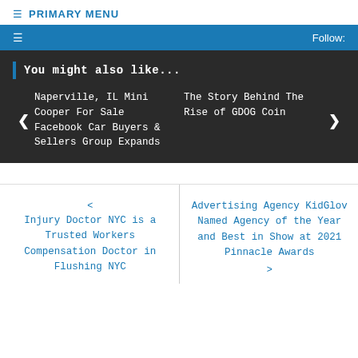≡ PRIMARY MENU
≡  Follow:
You might also like...
Naperville, IL Mini Cooper For Sale Facebook Car Buyers & Sellers Group Expands
The Story Behind The Rise of GDOG Coin
< Injury Doctor NYC is a Trusted Workers Compensation Doctor in Flushing NYC
Advertising Agency KidGlov Named Agency of the Year and Best in Show at 2021 Pinnacle Awards >